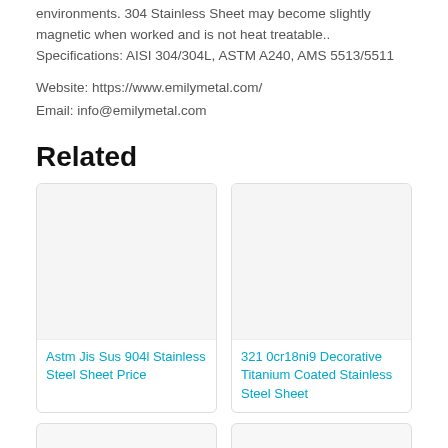environments. 304 Stainless Sheet may become slightly magnetic when worked and is not heat treatable.. Specifications: AISI 304/304L, ASTM A240, AMS 5513/5511
Website: https://www.emilymetal.com/
Email: info@emilymetal.com
Related
[Figure (photo): Product image placeholder for Astm Jis Sus 904l Stainless Steel Sheet Price]
Astm Jis Sus 904l Stainless Steel Sheet Price
[Figure (photo): Product image placeholder for 321 0cr18ni9 Decorative Titanium Coated Stainless Steel Sheet]
321 0cr18ni9 Decorative Titanium Coated Stainless Steel Sheet
[Figure (photo): Product image placeholder bottom left]
[Figure (photo): Product image placeholder bottom right]